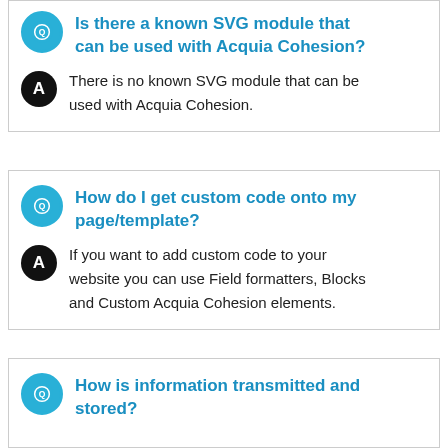Is there a known SVG module that can be used with Acquia Cohesion?
There is no known SVG module that can be used with Acquia Cohesion.
How do I get custom code onto my page/template?
If you want to add custom code to your website you can use Field formatters, Blocks and Custom Acquia Cohesion elements.
How is information transmitted and stored?